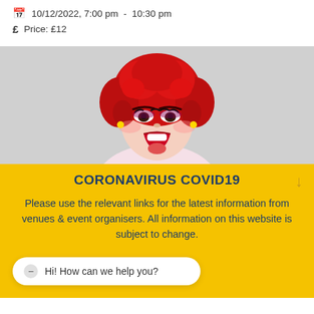📅 10/12/2022, 7:00 pm - 10:30 pm
£ Price: £12
[Figure (photo): Drag performer with large red hair, heavy makeup, open mouth with tongue out, on a grey background.]
CORONAVIRUS COVID19
Please use the relevant links for the latest information from venues & event organisers. All information on this website is subject to change.
Hi! How can we help you?